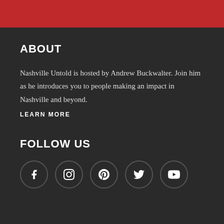ABOUT
Nashville Untold is hosted by Andrew Buckwalter. Join him as he introduces you to people making an impact in Nashville and beyond.
LEARN MORE
FOLLOW US
[Figure (other): Five social media icon circles: Facebook, Instagram, Pinterest, Twitter, YouTube]